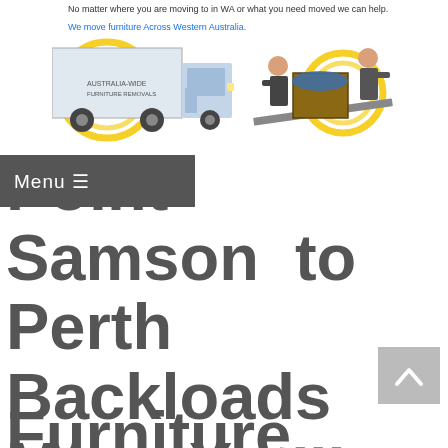No matter where you are moving to in WA or what you need moved we can help.
We move furniture Across Western Australia.
[Figure (photo): Composite banner image showing a furniture removal truck, two movers loading furniture on a ramp, and a color-coded map of Western Australia regions including Kimberley, Pilbara, Gascoyne, Mid West, Goldfields-Esperance, Wheatbelt, and Perth Metro areas. Yellow decorative circle graphics in the background.]
Menu ≡
Point Samson  to Perth Backloads Move Your Home or Office Furniture...